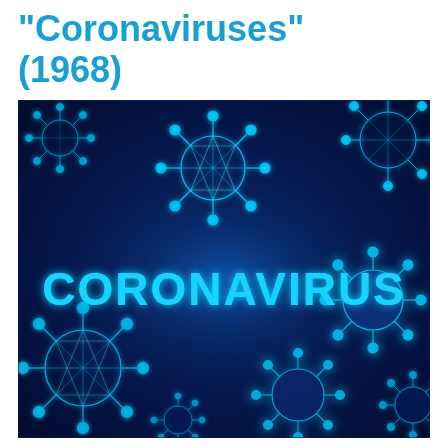“Coronaviruses” (1968)
[Figure (illustration): Dark blue background illustration showing 3D rendered coronavirus particles with glowing cyan spike proteins and the word CORONAVIRUS in bold cyan text in the center]